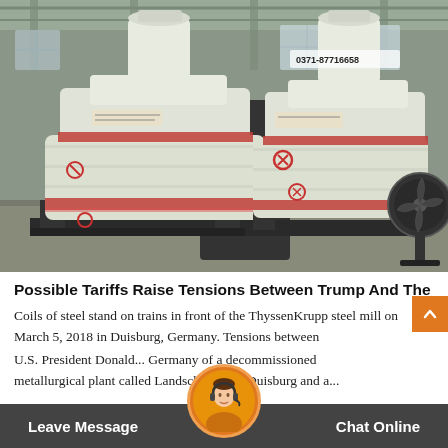[Figure (photo): Two large industrial cone crusher machines wrapped in white plastic packaging with red warning symbols, standing on black metal frames inside a factory warehouse. The machines have cylindrical tops and tapered bodies. A black industrial fan is visible on the right side. An identification number '0371-87716658' is visible on the right machine.]
Possible Tariffs Raise Tensions Between Trump And The
Coils of steel stand on trains in front of the ThyssenKrupp steel mill on March 5, 2018 in Duisburg, Germany. Tensions between U.S. President Donald... Germany of a decommissioned metallurgical plant called Landschaftspark Duisburg and a...
Leave Message   Chat Online